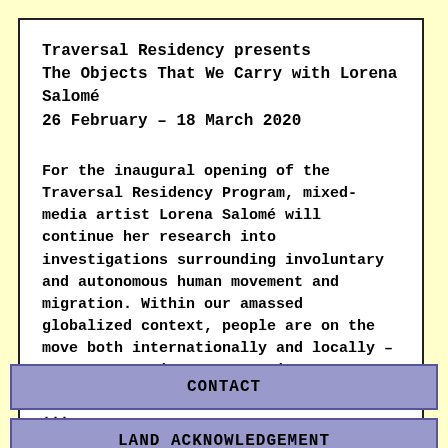Traversal Residency presents
The Objects That We Carry with Lorena Salomé
26 February – 18 March 2020
For the inaugural opening of the Traversal Residency Program, mixed-media artist Lorena Salomé will continue her research into investigations surrounding involuntary and autonomous human movement and migration. Within our amassed globalized context, people are on the move both internationally and locally – newcomers moving to countries, tenants getting renovicted, communities being ...
CONTINUE READING
CONTACT
LAND ACKNOWLEDGEMENT